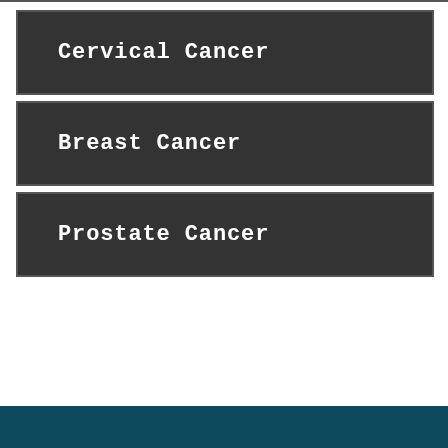Cervical Cancer
Breast Cancer
Prostate Cancer